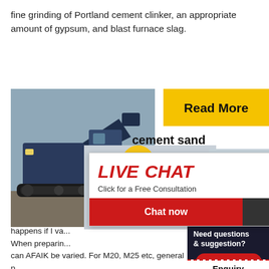fine grinding of Portland cement clinker, an appropriate amount of gypsum, and blast furnace slag.
[Figure (photo): Industrial mining/construction machinery (large blue excavator or crawler equipment) on a worksite]
[Figure (screenshot): Live chat popup overlay with red 'LIVE CHAT' title, consultant photo, 'Click for a Free Consultation' text, 'Chat now' (red) and 'Chat later' (dark) buttons, and a close X button]
[Figure (screenshot): Right sidebar with yellow 'Read More' button, red '4Hrs Online' bar, dark 'Need questions & suggestion?' section with red 'Chat Now' oval button, dashed 'Enquiry' section, black 'limingjlmofen' bar, yellow block, and 'P' text]
cement sand
happens if I va... When preparing... can AFAIK be varied. For M20, M25 etc, general p... The next best thing is a mix that is mostly aggrega... to include all sizes The w/c (water- cement) ratio i... significant factor in the final ...